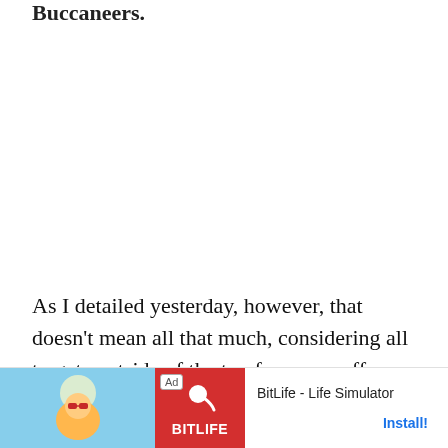Buccaneers.
As I detailed yesterday, however, that doesn't mean all that much, considering all targets outside of the top four—on offense—have combined to catch nine passes for 72 yards.
Seven d... lling 59 yards. h... ut he
[Figure (other): BitLife - Life Simulator advertisement banner with Ad label, cartoon character image, red logo block, app name and Install button]